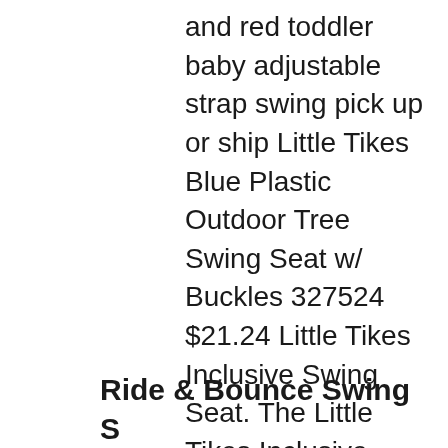and red toddler baby adjustable strap swing pick up or ship Little Tikes Blue Plastic Outdoor Tree Swing Seat w/ Buckles 327524 $21.24 Little Tikes Inclusive Swing Seat. The Little Tikes Inclusive Swing Seat is the perfect swing for children of varying abilities. This popular piece of accessible playground equipment makes it possible for kids with disabilities to experience the wonders of a park and its swings with their able-bodied friends.
Ride & Bounce Swing S...